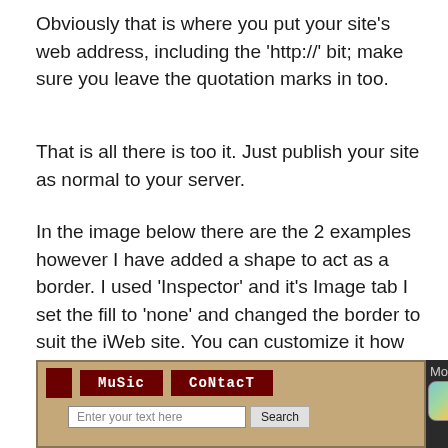Obviously that is where you put your site’s web address, including the ‘http://’ bit; make sure you leave the quotation marks in too.
That is all there is too it. Just publish your site as normal to your server.
In the image below there are the 2 examples however I have added a shape to act as a border. I used ‘Inspector’ and it’s Image tab I set the fill to ‘none’ and changed the border to suit the iWeb site. You can customize it how ever you like.
[Figure (screenshot): Screenshot showing two side-by-side examples of an iWeb site with a navigation bar containing 'MuSic' and 'CoNtacT' buttons on a tan/brown background with a search bar below, and a mobile device screenshot panel on the right showing app icons including MobileMe.]